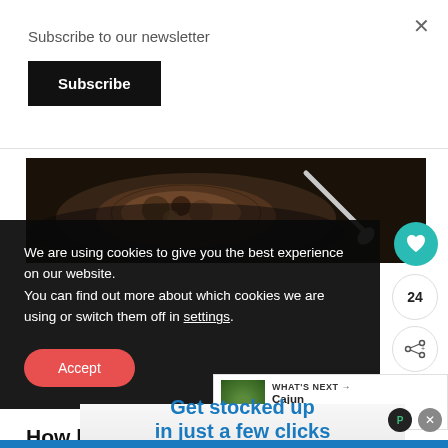Subscribe to our newsletter
Subscribe
[Figure (photo): Food photo showing a dark dish with crumbled food and a spoon/utensil on a dark plate]
We are using cookies to give you the best experience on our website.
You can find out more about which cookies we are using or switch them off in settings.
Accept
24
WHAT'S NEXT →
Cajun Butternut...
How long do they last?
[Figure (other): Advertisement banner: Get stocked up in just a few clicks. No markups or hidden fees.]